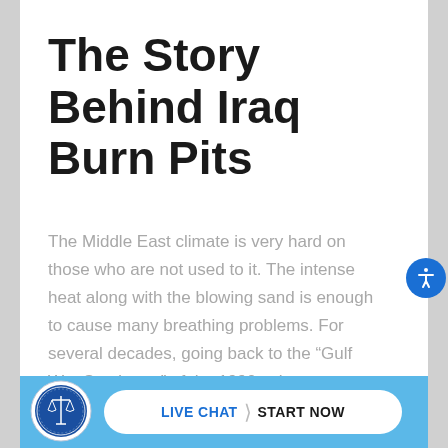The Story Behind Iraq Burn Pits
The Middle East climate is very hard on those who are not used to it. The intense heat along with the blowing sand is enough to cause many breathing problems. For several decades, going back to the “Gulf War Syndrome” of the 1990s, the government has insisted that environmental factors alone caused veterans’ respiratory distress.
[Figure (logo): Law firm seal/logo — circular blue emblem with scales of justice]
LIVE CHAT › START NOW